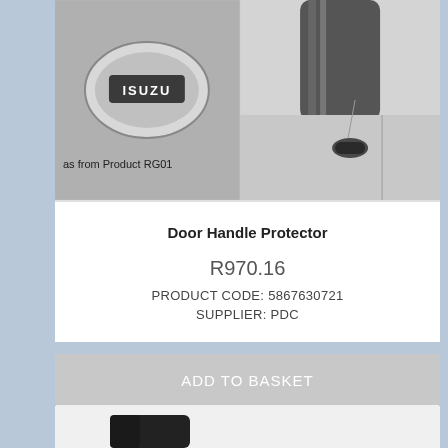[Figure (photo): Two product photos: left shows Isuzu logo/emblem badge on vehicle; right shows door handle area of a vehicle with chrome/black door handle protector]
as from Product RG01
Door Handle Protector
R970.16
PRODUCT CODE: 5867630721
SUPPLIER: PDC
ADD TO BASKET
[Figure (photo): Partial product photo at bottom of page, cropped — shows a dark automotive accessory]